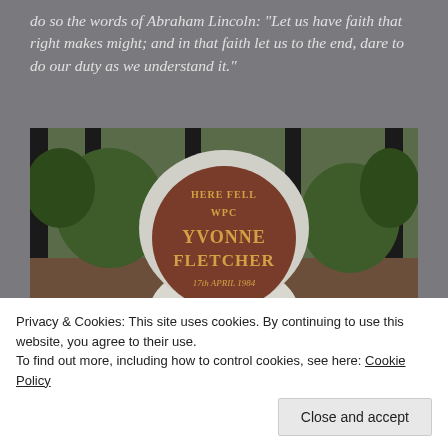do so the words of Abraham Lincoln: "Let us have faith that right makes might; and in that faith let us to the end, dare to do our duty as we understand it."
[Figure (photo): A memorial plaque mounted on a white stone, reading 'HERE FELL WPC YVONNE FLETCHER 17th APRIL 1984', set in front of iron railings with greenery in the background.]
Privacy & Cookies: This site uses cookies. By continuing to use this website, you agree to their use.
To find out more, including how to control cookies, see here: Cookie Policy
Close and accept